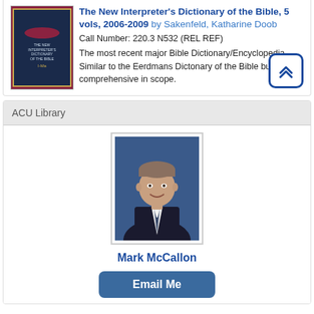[Figure (illustration): Book cover of The New Interpreter's Dictionary of the Bible, dark blue with gold border, maroon outer cover]
The New Interpreter's Dictionary of the Bible, 5 vols, 2006-2009 by Sakenfeld, Katharine Doob
Call Number: 220.3 N532 (REL REF)
The most recent major Bible Dictionary/Encyclopedia. Similar to the Eerdmans Dictonary of the Bible but more comprehensive in scope.
[Figure (other): Back to top button — double chevron up icon in blue rounded square border]
ACU Library
[Figure (photo): Professional headshot of Mark McCallon, a man in a dark suit and tie, smiling, against a blue background]
Mark McCallon
Email Me